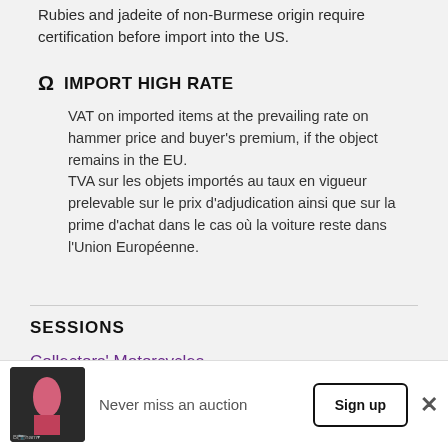Rubies and jadeite of non-Burmese origin require certification before import into the US.
Ω IMPORT HIGH RATE
VAT on imported items at the prevailing rate on hammer price and buyer's premium, if the object remains in the EU.
TVA sur les objets importés au taux en vigueur prelevable sur le prix d'adjudication ainsi que sur la prime d'achat dans le cas où la voiture reste dans l'Union Européenne.
SESSIONS
Collectors' Motorcycles
Never miss an auction